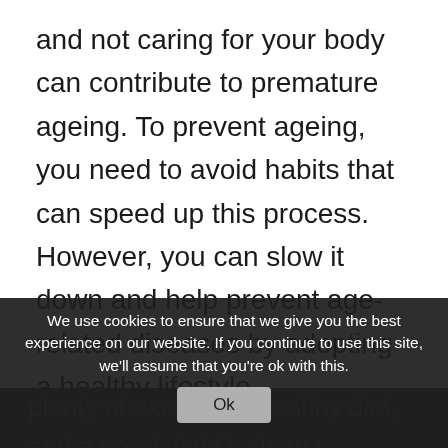and not caring for your body can contribute to premature ageing. To prevent ageing, you need to avoid habits that can speed up this process. However, you can slow it down and help prevent age-related diseases by adopting a healthy lifestyle.
We use cookies to ensure that we give you the best experience on our website. If you continue to use this site, we'll assume that you're ok with this.
plenty of exercises, healthy diet, and a good night's sleep can greatly improve